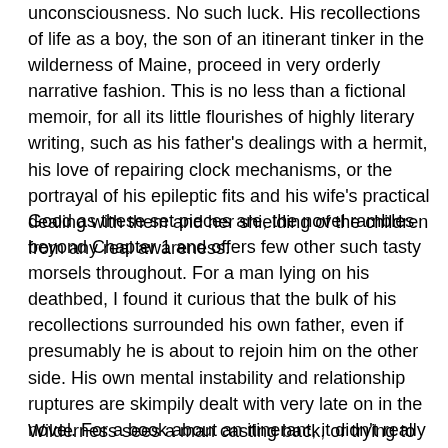unconsciousness. No such luck. His recollections of life as a boy, the son of an itinerant tinker in the wilderness of Maine, proceed in very orderly narrative fashion. This is no less than a fictional memoir, for all its little flourishes of highly literary writing, such as his father's dealings with a hermit, his love of repairing clock mechanisms, or the portrayal of his epileptic fits and his wife's practical dealing with them and her shielding of the children from any real awareness.
Good as these set pieces are, the novel rambles beyond Chapter 1 and offers few other such tasty morsels throughout. For a man lying on his deathbed, I found it curious that the bulk of his recollections surrounded his own father, even if presumably he is about to rejoin him on the other side. His own mental instability and relationship ruptures are skimpily dealt with very late on in the novel. For a book about an itinerant, it didn't really deviate and wander off the beaten track an awful lot. Style over substance in this case did not quite sate my appetite, whetted by such a strong opening.
Wilderness sees a man casting back, or trying to cast back